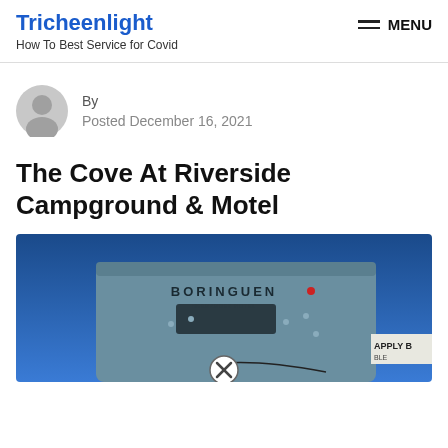Tricheenlight
How To Best Service for Covid
MENU
By
Posted December 16, 2021
The Cove At Riverside Campground & Motel
[Figure (photo): Photo of a blue-gray industrial or commercial building with 'BORINGUEN' text on it against a blue sky background, with a partial 'APPLY' sign visible at the right edge. A close/X button overlay is visible at the bottom center.]